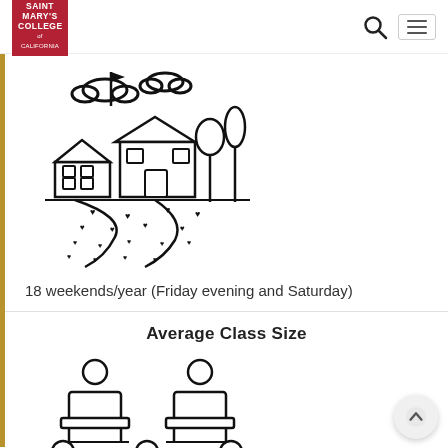Saint Mary's College of California — navigation header with search and menu icons
[Figure (illustration): Line-art illustration of a campus building with flag, clouds, trees, and a curving path with small heart-shaped footprints]
18 weekends/year (Friday evening and Saturday)
Average Class Size
[Figure (illustration): Line-art icon showing five seated students at desks arranged in two rows: two in the back and three in the front]